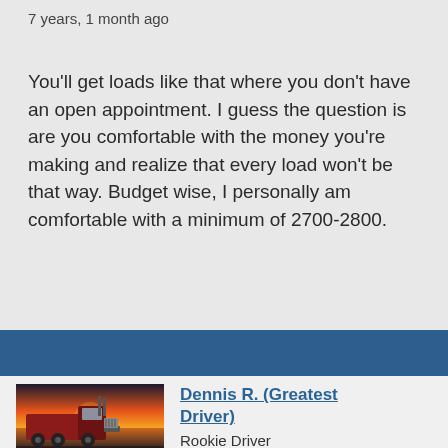7 years, 1 month ago
You'll get loads like that where you don't have an open appointment. I guess the question is are you comfortable with the money you're making and realize that every load won't be that way. Budget wise, I personally am comfortable with a minimum of 2700-2800.
[Figure (photo): Red semi truck against a sunset background]
Dennis R. (Greatest Driver)
Rookie Driver
Posts: 261